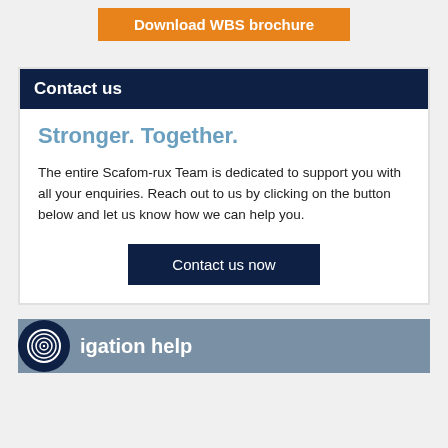Download WBS brochure
Contact us
Stronger. Together.
The entire Scafom-rux Team is dedicated to support you with all your enquiries. Reach out to us by clicking on the button below and let us know how we can help you.
Contact us now
igation help